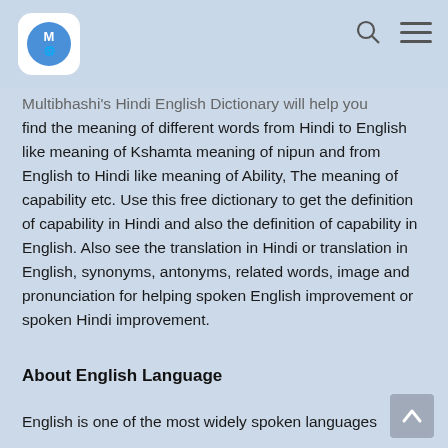Multibhashi app header with logo, search and menu icons
Multibhashi's Hindi English Dictionary will help you find the meaning of different words from Hindi to English like meaning of Kshamta meaning of nipun and from English to Hindi like meaning of Ability, The meaning of capability etc. Use this free dictionary to get the definition of capability in Hindi and also the definition of capability in English. Also see the translation in Hindi or translation in English, synonyms, antonyms, related words, image and pronunciation for helping spoken English improvement or spoken Hindi improvement.
About English Language
English is one of the most widely spoken languages